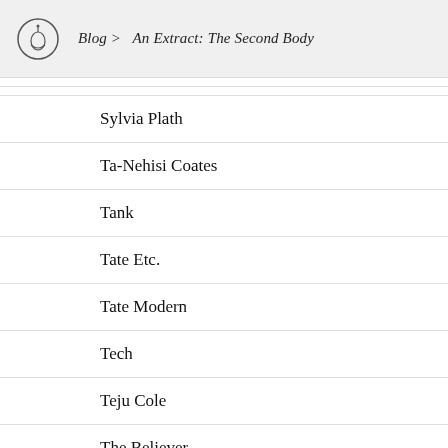Blog > An Extract: The Second Body
Sylvia Plath
Ta-Nehisi Coates
Tank
Tate Etc.
Tate Modern
Tech
Teju Cole
The Believer
The Guardian
The Honest Ulsterman